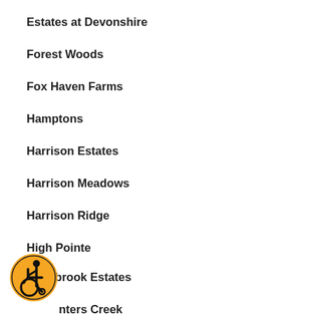Estates at Devonshire
Forest Woods
Fox Haven Farms
Hamptons
Harrison Estates
Harrison Meadows
Harrison Ridge
High Pointe
Hollybrook Estates
Horseshoe Run
Hunters Creek
Knights Court
[Figure (illustration): Accessibility icon: orange circle with black wheelchair user symbol]